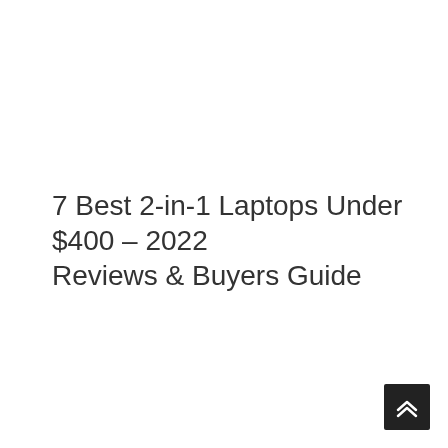7 Best 2-in-1 Laptops Under $400 – 2022 Reviews & Buyers Guide
[Figure (other): Back to top button — dark square button with double upward chevron arrows in white, positioned at bottom-right corner]